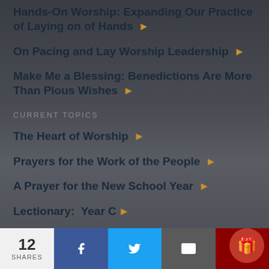Hands-On Worship: Expanding Our Practice of Laying on of Hands
On Pacing and Lay Worship Leadership
Make Me a Blessing: Benedictions Are More Than Pious Wishes
CURRENT TOPICS
The Heart of Worship
Prayers for the Work of the People
A Prayer for the New School Year
Lectionary:  Year C
12 SHARES